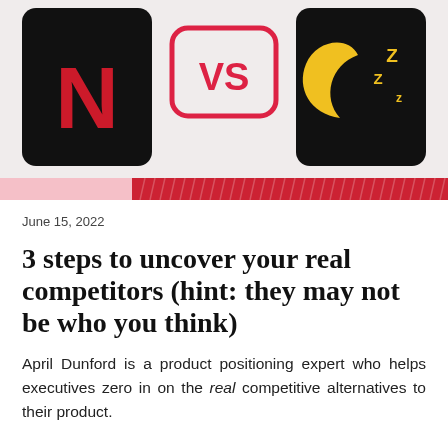[Figure (illustration): Hero image showing three icons: Netflix logo (black background, red N) on the left, a red-bordered 'VS' badge in the center on light background, and a sleep/moon emoji icon (black background, yellow crescent moon with zzZ) on the right. Below the icons is a decorative horizontal bar that transitions from light pink on the left to a dark red textured pattern on the right.]
June 15, 2022
3 steps to uncover your real competitors (hint: they may not be who you think)
April Dunford is a product positioning expert who helps executives zero in on the real competitive alternatives to their product.